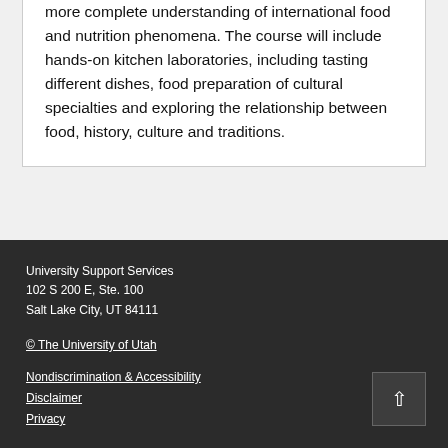more complete understanding of international food and nutrition phenomena. The course will include hands-on kitchen laboratories, including tasting different dishes, food preparation of cultural specialties and exploring the relationship between food, history, culture and traditions.
University Support Services
102 S 200 E, Ste. 100
Salt Lake City, UT 84111

© The University of Utah

Nondiscrimination & Accessibility
Disclaimer
Privacy